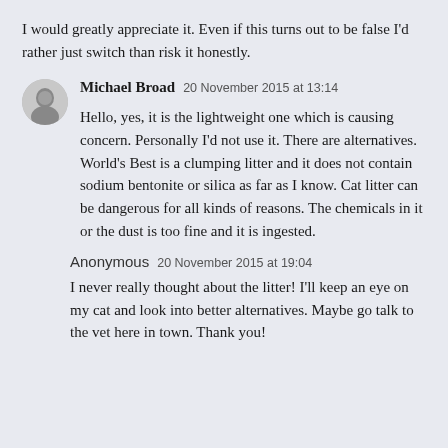I would greatly appreciate it. Even if this turns out to be false I'd rather just switch than risk it honestly.
Michael Broad  20 November 2015 at 13:14
Hello, yes, it is the lightweight one which is causing concern. Personally I'd not use it. There are alternatives. World's Best is a clumping litter and it does not contain sodium bentonite or silica as far as I know. Cat litter can be dangerous for all kinds of reasons. The chemicals in it or the dust is too fine and it is ingested.
Anonymous  20 November 2015 at 19:04
I never really thought about the litter! I'll keep an eye on my cat and look into better alternatives. Maybe go talk to the vet here in town. Thank you!